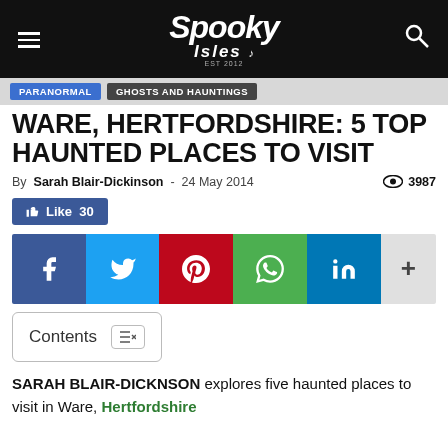Spooky Isles
Paranormal | Ghosts and Hauntings
WARE, HERTFORDSHIRE: 5 TOP HAUNTED PLACES TO VISIT
By Sarah Blair-Dickinson - 24 May 2014   3987 views
[Figure (infographic): Social share bar with Facebook, Twitter, Pinterest, WhatsApp, LinkedIn, and more buttons]
Contents
SARAH BLAIR-DICKNSON explores five haunted places to visit in Ware, Hertfordshire